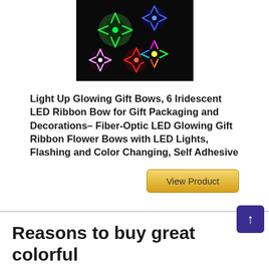[Figure (photo): Colorful LED light-up gift bows glowing in multiple colors (red, green, blue, pink, white) on a dark background]
Light Up Glowing Gift Bows, 6 Iridescent LED Ribbon Bow for Gift Packaging and Decorations- Fiber-Optic LED Glowing Gift Ribbon Flower Bows with LED Lights, Flashing and Color Changing, Self Adhesive
View Product
Reasons to buy great colorful